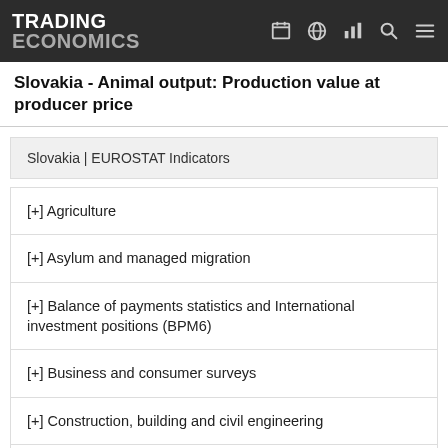TRADING ECONOMICS
Slovakia - Animal output: Production value at producer price
Slovakia | EUROSTAT Indicators
[+] Agriculture
[+] Asylum and managed migration
[+] Balance of payments statistics and International investment positions (BPM6)
[+] Business and consumer surveys
[+] Construction, building and civil engineering
[+] Education